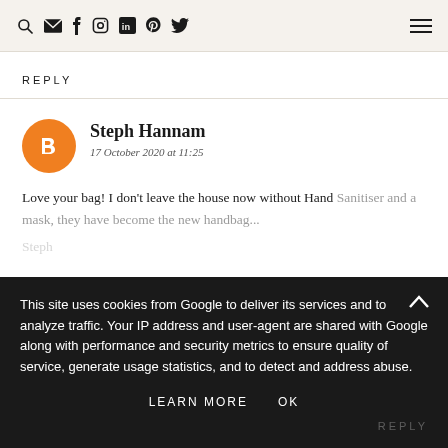Search Email Facebook Instagram LinkedIn Pinterest Twitter Menu
REPLY
Steph Hannam
17 October 2020 at 11:25
Love your bag! I don't leave the house now without Hand Sanitiser and a mask, they have become the new handbag essentials haven't they.
Steph
This site uses cookies from Google to deliver its services and to analyze traffic. Your IP address and user-agent are shared with Google along with performance and security metrics to ensure quality of service, generate usage statistics, and to detect and address abuse.
LEARN MORE   OK
REPLY